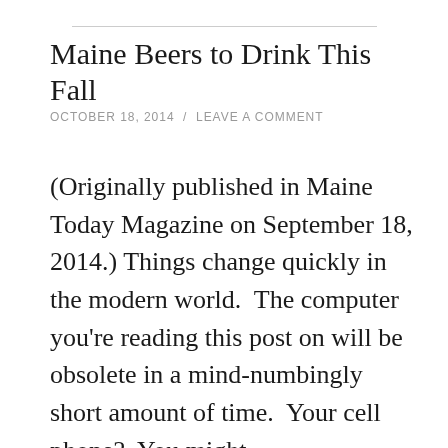Maine Beers to Drink This Fall
OCTOBER 18, 2014  /  LEAVE A COMMENT
(Originally published in Maine Today Magazine on September 18, 2014.) Things change quickly in the modern world.  The computer you're reading this post on will be obsolete in a mind-numbingly short amount of time.  Your cell phone?  You might